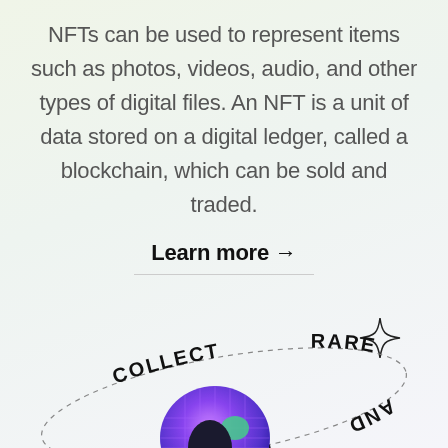NFTs can be used to represent items such as photos, videos, audio, and other types of digital files. An NFT is a unit of data stored on a digital ledger, called a blockchain, which can be sold and traded.
Learn more →
[Figure (illustration): Decorative illustration showing a spinning globe/disc with purple and blue tones, surrounded by a dashed ellipse orbit line. Words 'COLLECT', 'RARE', 'AND', 'EX...' and 'KS.' appear curved around the orbit. A four-pointed star sparkle appears in the upper right area.]